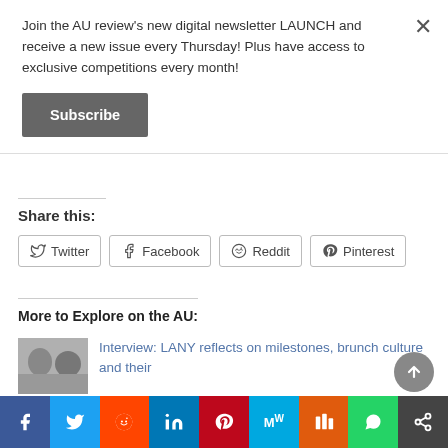Join the AU review's new digital newsletter LAUNCH and receive a new issue every Thursday! Plus have access to exclusive competitions every month!
Subscribe
Share this:
Twitter  Facebook  Reddit  Pinterest
More to Explore on the AU:
[Figure (photo): Thumbnail photo showing two people]
Interview: LANY reflects on milestones, brunch culture and their
Facebook  Twitter  Reddit  LinkedIn  Pinterest  MW  Mix  WhatsApp  Share